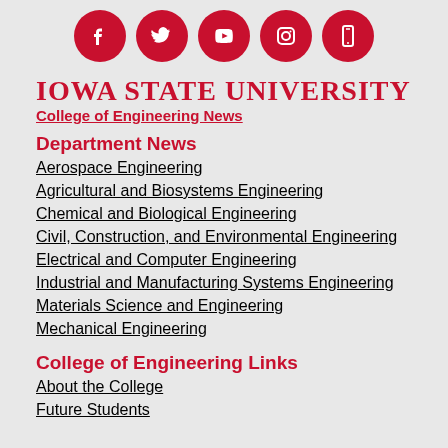[Figure (illustration): Five circular red social media icons: Facebook, Twitter, YouTube, Instagram, and a mobile/phone icon, arranged horizontally]
Iowa State University
College of Engineering News
Department News
Aerospace Engineering
Agricultural and Biosystems Engineering
Chemical and Biological Engineering
Civil, Construction, and Environmental Engineering
Electrical and Computer Engineering
Industrial and Manufacturing Systems Engineering
Materials Science and Engineering
Mechanical Engineering
College of Engineering Links
About the College
Future Students